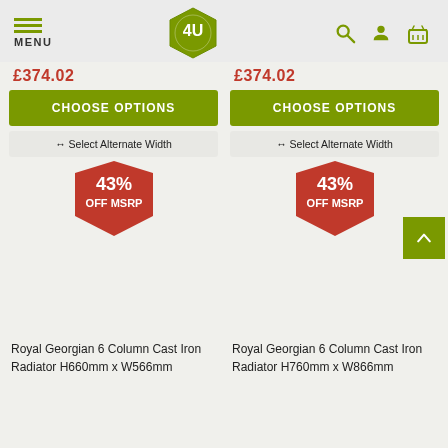MENU | 4U Logo | Search | Account | Basket
£374.02
£374.02
CHOOSE OPTIONS
CHOOSE OPTIONS
↔ Select Alternate Width
↔ Select Alternate Width
[Figure (infographic): Red pentagon badge with '43% OFF MSRP' text]
[Figure (infographic): Red pentagon badge with '43% OFF MSRP' text]
Royal Georgian 6 Column Cast Iron Radiator H660mm x W566mm
Royal Georgian 6 Column Cast Iron Radiator H760mm x W866mm